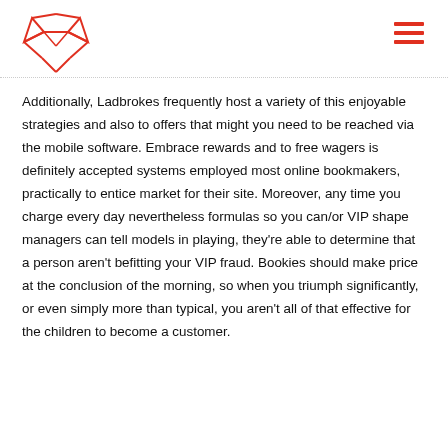[Fox logo and hamburger menu]
Additionally, Ladbrokes frequently host a variety of this enjoyable strategies and also to offers that might you need to be reached via the mobile software. Embrace rewards and to free wagers is definitely accepted systems employed most online bookmakers, practically to entice market for their site. Moreover, any time you charge every day nevertheless formulas so you can/or VIP shape managers can tell models in playing, they’re able to determine that a person aren’t befitting your VIP fraud. Bookies should make price at the conclusion of the morning, so when you triumph significantly, or even simply more than typical, you aren’t all of that effective for the children to become a customer.